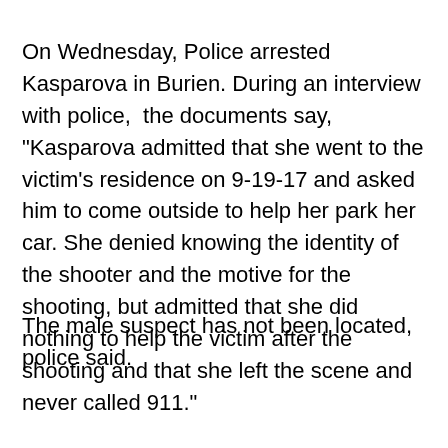On Wednesday, Police arrested Kasparova in Burien. During an interview with police,  the documents say, "Kasparova admitted that she went to the victim's residence on 9-19-17 and asked him to come outside to help her park her car. She denied knowing the identity of the shooter and the motive for the shooting, but admitted that she did nothing to help the victim after the shooting and that she left the scene and never called 911."
The male suspect has not been located, police said.